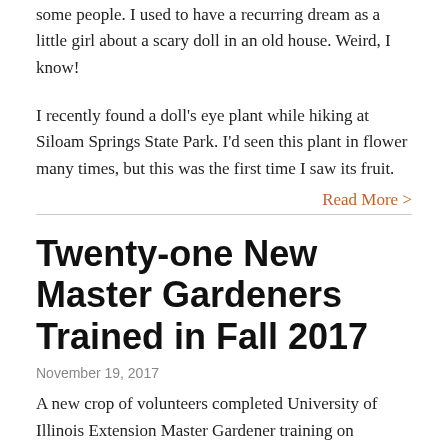some people. I used to have a recurring dream as a little girl about a scary doll in an old house. Weird, I know!
I recently found a doll's eye plant while hiking at Siloam Springs State Park. I'd seen this plant in flower many times, but this was the first time I saw its fruit.
Read More >
Twenty-one New Master Gardeners Trained in Fall 2017
November 19, 2017
A new crop of volunteers completed University of Illinois Extension Master Gardener training on November 7, 2017. Twenty-one energetic trainees culminated their ten-week Master Gardener...